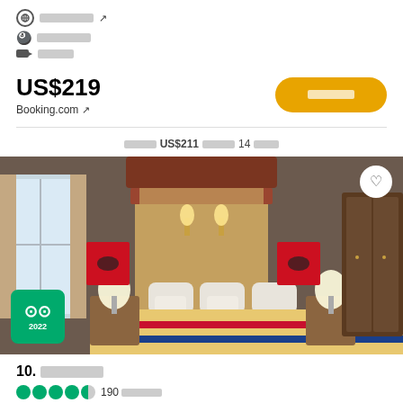████████ ↗
███████
████
US$219
Booking.com ↗
████ US$211 ████ 14 ███
[Figure (photo): Hotel room with canopy bed, ornate wooden headboard, striped bedspread, wall sconces, and artwork. TripAdvisor 2022 badge visible.]
10. █████
190 ███
█████████ ██████████████ ██████████ ████